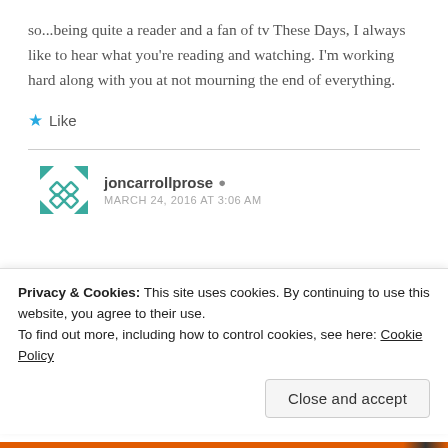so...being quite a reader and a fan of tv These Days, I always like to hear what you're reading and watching. I'm working hard along with you at not mourning the end of everything.
Like
joncarrollprose
MARCH 24, 2016 AT 3:06 AM
Privacy & Cookies: This site uses cookies. By continuing to use this website, you agree to their use.
To find out more, including how to control cookies, see here: Cookie Policy
Close and accept